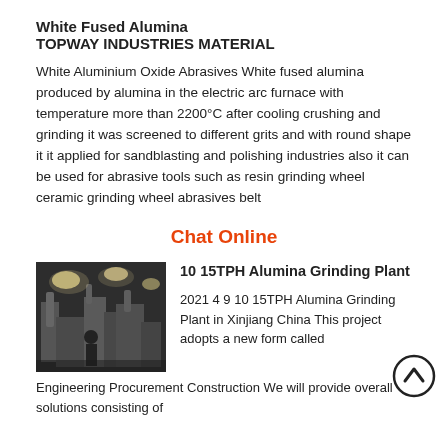White Fused Alumina
TOPWAY INDUSTRIES MATERIAL
White Aluminium Oxide Abrasives White fused alumina produced by alumina in the electric arc furnace with temperature more than 2200°C after cooling crushing and grinding it was screened to different grits and with round shape it it applied for sandblasting and polishing industries also it can be used for abrasive tools such as resin grinding wheel ceramic grinding wheel abrasives belt
Chat Online
[Figure (photo): Industrial alumina grinding plant machinery, dark industrial interior with equipment and lighting.]
10 15TPH Alumina Grinding Plant
2021 4 9 10 15TPH Alumina Grinding Plant in Xinjiang China This project adopts a new form called Engineering Procurement Construction We will provide overall solutions consisting of